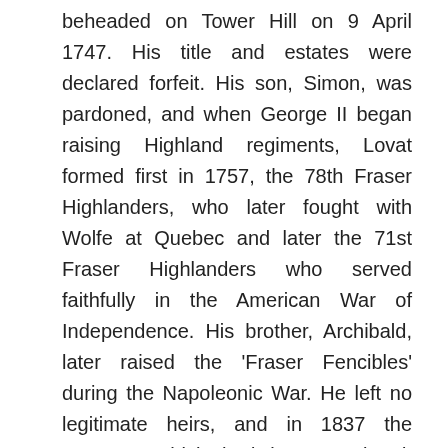beheaded on Tower Hill on 9 April 1747. His title and estates were declared forfeit. His son, Simon, was pardoned, and when George II began raising Highland regiments, Lovat formed first in 1757, the 78th Fraser Highlanders, who later fought with Wolfe at Quebec and later the 71st Fraser Highlanders who served faithfully in the American War of Independence. His brother, Archibald, later raised the 'Fraser Fencibles' during the Napoleonic War. He left no legitimate heirs, and in 1837 the peerage, which had been attainted, was restored to a cousin, Thomas Fraser of Strichen, a descendant of the fourth Lord Lovat. In 1899 Lord Lovat raised the Lovat Scouts to fight in the Boer War. The Scouts saw service in the First World War and in the Second, where Mac Shimidh became a distinguished commando leader, being awarded both the Distinguished Service Order and the